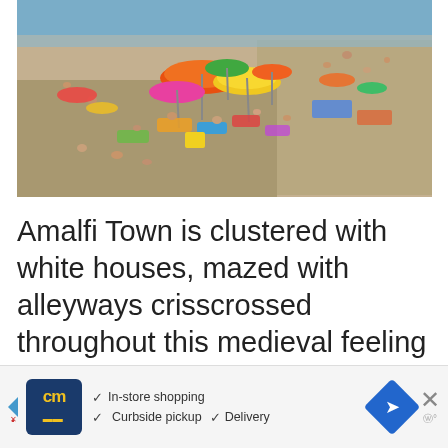[Figure (photo): Aerial view of a crowded beach with colorful umbrellas (orange, yellow, pink), sunbathers on sandy/pebbly shore, and calm blue sea in the background.]
Amalfi Town is clustered with white houses, mazed with alleyways crisscrossed throughout this medieval feeling town and scattered with watch towers overlooking the town squares.
The alleys in Amalfi are connected with tourists and
[Figure (infographic): Advertisement bar at bottom: cm logo (yellow text on dark blue), checkmarks for In-store shopping, Curbside pickup, Delivery, blue navigation arrow icon, and X close button with W° watermark.]